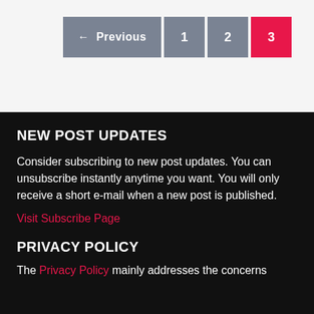← Previous  1  2  3
NEW POST UPDATES
Consider subscribing to new post updates. You can unsubscribe instantly anytime you want. You will only receive a short e-mail when a new post is published.
Visit Subscribe Page
PRIVACY POLICY
The Privacy Policy mainly addresses the concerns